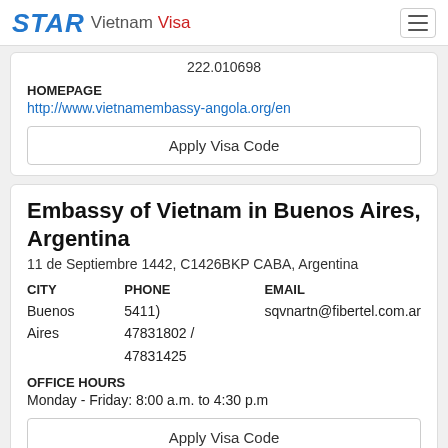STAR Vietnam Visa
222.010698
HOMEPAGE
http://www.vietnamembassy-angola.org/en
Apply Visa Code
Embassy of Vietnam in Buenos Aires, Argentina
11 de Septiembre 1442, C1426BKP CABA, Argentina
| CITY | PHONE | EMAIL |
| --- | --- | --- |
| Buenos
Aires | 5411)
47831802 /
47831425 | sqvnartn@fibertel.com.ar |
OFFICE HOURS
Monday - Friday: 8:00 a.m. to 4:30 p.m
Apply Visa Code